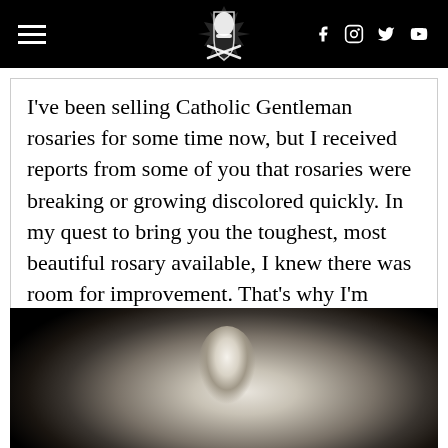Catholic Gentleman website header with hamburger menu, logo, and social icons (Facebook, Instagram, Twitter, YouTube)
I've been selling Catholic Gentleman rosaries for some time now, but I received reports from some of you that rosaries were breaking or growing discolored quickly. In my quest to bring you the toughest, most beautiful rosary available, I knew there was room for improvement. That's why I'm excited to announce a new partnership with [...]
[Figure (photo): Black and white photo of a marble bust sculpture of a bald male figure, shown from the neck up against a dark background]